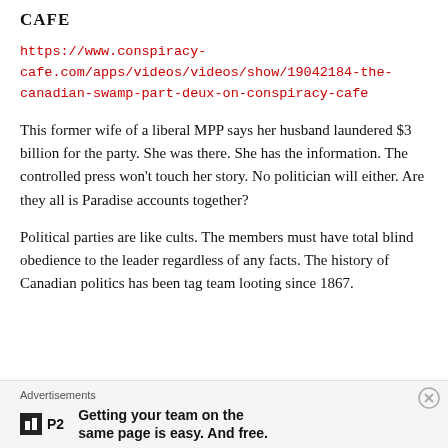CAFE
https://www.conspiracy-cafe.com/apps/videos/videos/show/19042184-the-canadian-swamp-part-deux-on-conspiracy-cafe
This former wife of a liberal MPP says her husband laundered $3 billion for the party. She was there. She has the information. The controlled press won't touch her story. No politician will either. Are they all is Paradise accounts together?
Political parties are like cults. The members must have total blind obedience to the leader regardless of any facts. The history of Canadian politics has been tag team looting since 1867.
Advertisements
Getting your team on the same page is easy. And free.